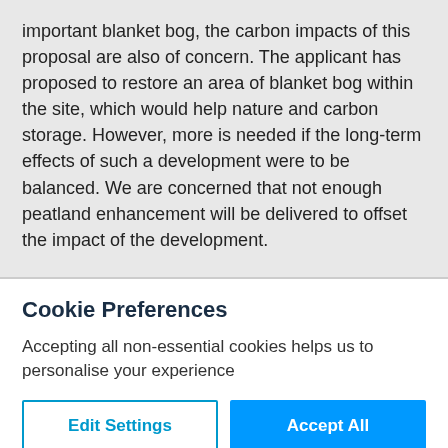important blanket bog, the carbon impacts of this proposal are also of concern. The applicant has proposed to restore an area of blanket bog within the site, which would help nature and carbon storage. However, more is needed if the long-term effects of such a development were to be balanced. We are concerned that not enough peatland enhancement will be delivered to offset the impact of the development.
Cookie Preferences
Accepting all non-essential cookies helps us to personalise your experience